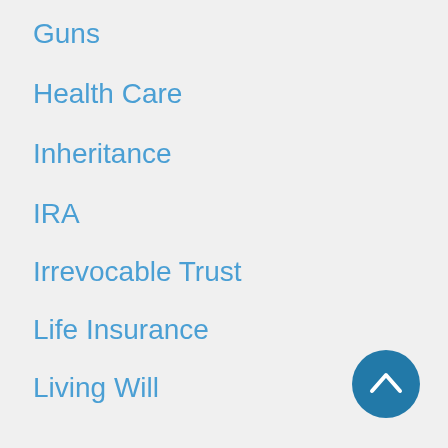Guns
Health Care
Inheritance
IRA
Irrevocable Trust
Life Insurance
Living Will
Long Term Care Planning
Medicaid
Medicare